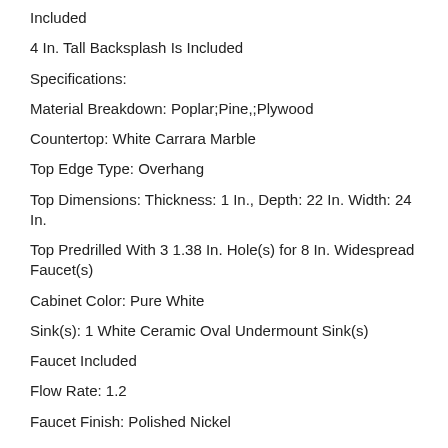Included
4 In. Tall Backsplash Is Included
Specifications:
Material Breakdown: Poplar;Pine,;Plywood
Countertop: White Carrara Marble
Top Edge Type: Overhang
Top Dimensions: Thickness: 1 In., Depth: 22 In. Width: 24 In.
Top Predrilled With 3 1.38 In. Hole(s) for 8 In. Widespread Faucet(s)
Cabinet Color: Pure White
Sink(s): 1 White Ceramic Oval Undermount Sink(s)
Faucet Included
Flow Rate: 1.2
Faucet Finish: Polished Nickel